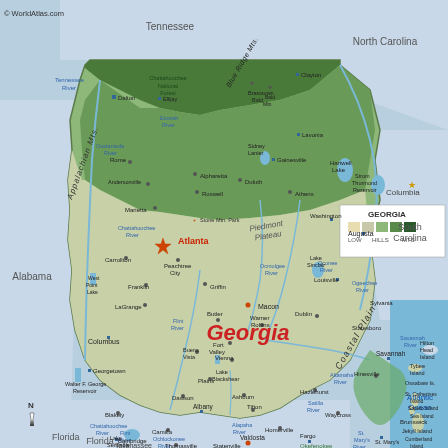[Figure (map): Physical map of the state of Georgia (USA) showing terrain, cities, rivers, lakes, and neighboring states/features. Includes elevation legend (LOW, HILLS, MTS), scale bar (50 mi / 50 km), state label 'Georgia' in red, and surrounding states/regions: Tennessee, North Carolina, South Carolina, Alabama, Florida, Atlantic Ocean. Major cities labeled include Atlanta, Savannah, Augusta, Columbus, Macon. Geographic features include Appalachian Mts., Blue Ridge Mts., Piedmont Plateau, Coastal Plain, and various rivers and lakes. Copyright WorldAtlas.com.]